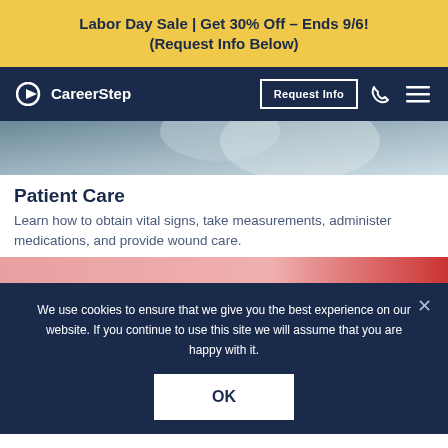Labor Day Sale | Get 30% Off – Ends 9/6!
(Request Info Below)
[Figure (logo): CareerStep logo with arrow icon on dark navy navigation bar, with Request Info button, phone icon, and hamburger menu]
[Figure (photo): Partial photo of a medical professional, cropped, showing upper body area]
Patient Care
Learn how to obtain vital signs, take measurements, administer medications, and provide wound care.
[Figure (photo): Partial bottom image strip showing another scene, cropped]
We use cookies to ensure that we give you the best experience on our website. If you continue to use this site we will assume that you are happy with it.